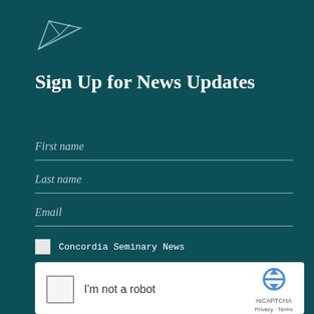[Figure (illustration): Paper plane / send icon outline in teal/white, top-left corner]
Sign Up for News Updates
First name
Last name
Email
Concordia Seminary News
Concordia Theology News
@ConcordiaSem Alumni Newsletter
[Figure (screenshot): reCAPTCHA widget showing checkbox 'I'm not a robot' with reCAPTCHA logo and Privacy · Terms links]